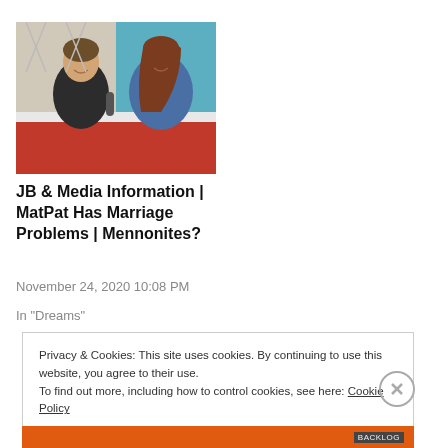[Figure (photo): Two people seated together, a man on the left gesturing while speaking and a woman on the right smiling, with a colorful patterned background.]
JB & Media Information | MatPat Has Marriage Problems | Mennonites?
November 24, 2020 10:08 PM
In "Dreams"
Privacy & Cookies: This site uses cookies. By continuing to use this website, you agree to their use.
To find out more, including how to control cookies, see here: Cookie Policy
Close and accept